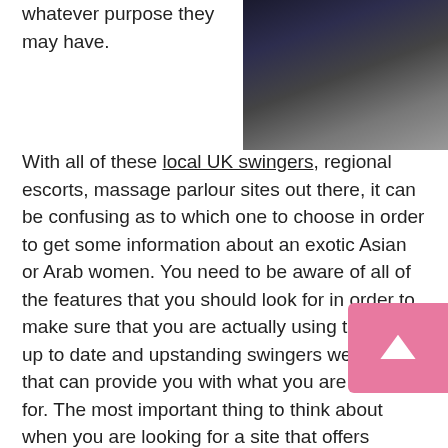whatever purpose they may have.
[Figure (photo): Woman in dark outfit, partial body shot, indoor setting]
With all of these local UK swingers, regional escorts, massage parlour sites out there, it can be confusing as to which one to choose in order to get some information about an exotic Asian or Arab women. You need to be aware of all of the features that you should look for in order to make sure that you are actually using the most up to date and upstanding swingers web site that can provide you with what you are looking for. The most important thing to think about when you are looking for a site that offers escort guide sites for free is what kind of customer service you will get. There are all kinds of different things that can happen on any particular UK swinger. There are plenty of people who will have what is called a scam profile on the internet.